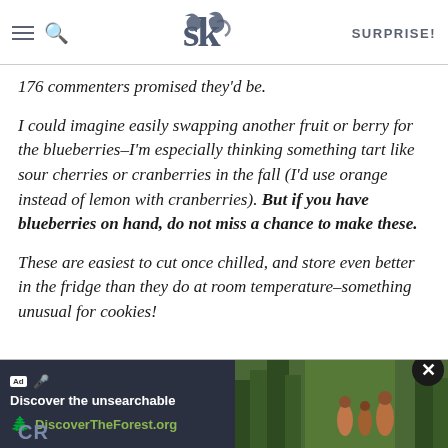SK SURPRISE!
176 commenters promised they'd be.
I could imagine easily swapping another fruit or berry for the blueberries–I'm especially thinking something tart like sour cherries or cranberries in the fall (I'd use orange instead of lemon with cranberries). But if you have blueberries on hand, do not miss a chance to make these.
These are easiest to cut once chilled, and store even better in the fridge than they do at room temperature–something unusual for cookies!
[Figure (screenshot): Ad banner: Discover the unsearchable / DiscoverTheForest.org with close button and forest photo]